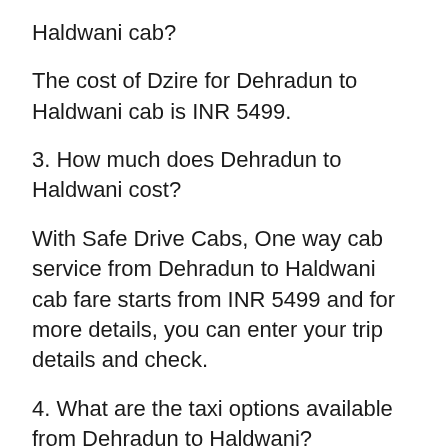Haldwani cab?
The cost of Dzire for Dehradun to Haldwani cab is INR 5499.
3. How much does Dehradun to Haldwani cost?
With Safe Drive Cabs, One way cab service from Dehradun to Haldwani cab fare starts from INR 5499 and for more details, you can enter your trip details and check.
4. What are the taxi options available from Dehradun to Haldwani?
The taxi options available from Dehradun to Haldwani are 4 seater Sedans ( Dzire, Etios,